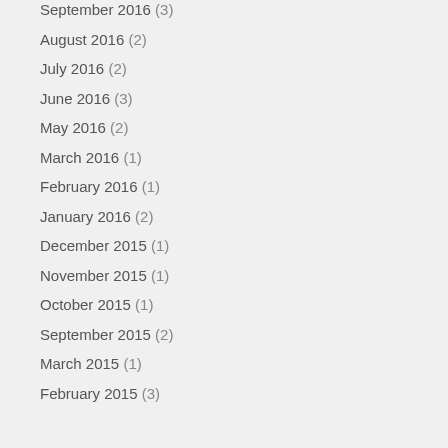September 2016 (3)
August 2016 (2)
July 2016 (2)
June 2016 (3)
May 2016 (2)
March 2016 (1)
February 2016 (1)
January 2016 (2)
December 2015 (1)
November 2015 (1)
October 2015 (1)
September 2015 (2)
March 2015 (1)
February 2015 (3)